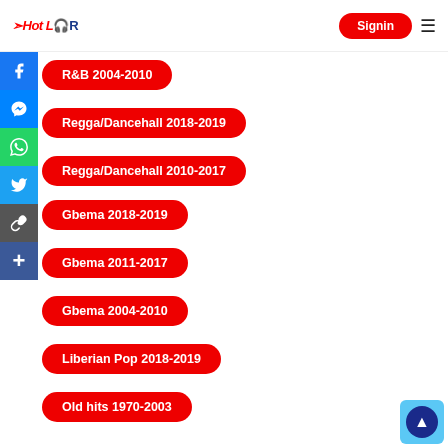Hot LOR — Signin
R&B 2004-2010
Regga/Dancehall 2018-2019
Regga/Dancehall 2010-2017
Gbema 2018-2019
Gbema 2011-2017
Gbema 2004-2010
Liberian Pop 2018-2019
Old hits 1970-2003